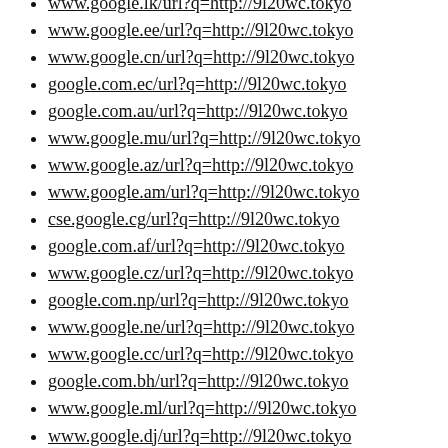www.google.lk/url?q=http://9l20wc.tokyo
www.google.ee/url?q=http://9l20wc.tokyo
www.google.cn/url?q=http://9l20wc.tokyo
google.com.ec/url?q=http://9l20wc.tokyo
google.com.au/url?q=http://9l20wc.tokyo
www.google.mu/url?q=http://9l20wc.tokyo
www.google.az/url?q=http://9l20wc.tokyo
www.google.am/url?q=http://9l20wc.tokyo
cse.google.cg/url?q=http://9l20wc.tokyo
google.com.af/url?q=http://9l20wc.tokyo
www.google.cz/url?q=http://9l20wc.tokyo
google.com.np/url?q=http://9l20wc.tokyo
www.google.ne/url?q=http://9l20wc.tokyo
www.google.cc/url?q=http://9l20wc.tokyo
google.com.bh/url?q=http://9l20wc.tokyo
www.google.ml/url?q=http://9l20wc.tokyo
www.google.dj/url?q=http://9l20wc.tokyo
www.google.st/url?q=http://9l20wc.tokyo
google.com.tw/url?q=http://9l20wc.tokyo